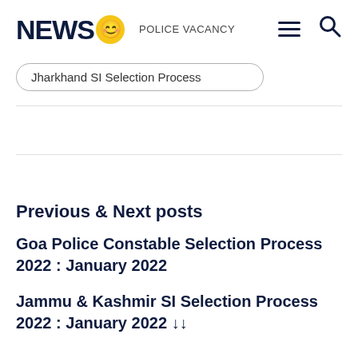NEWS 😊 POLICE VACANCY
Jharkhand SI Selection Process
Previous & Next posts
Goa Police Constable Selection Process 2022 : January 2022
Jammu & Kashmir SI Selection Process 2022 : January 2022